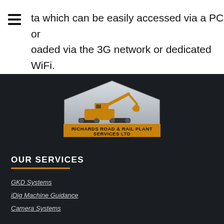ta which can be easily accessed via a PC or loaded via the 3G network or dedicated WiFi.
[Figure (logo): Richards Road & Rail Plant Services Ltd logo with excavator on silver pentagon shape and yellow banner]
OUR SERVICES
GKD Systems
iDig Machine Guidance
Camera Systems